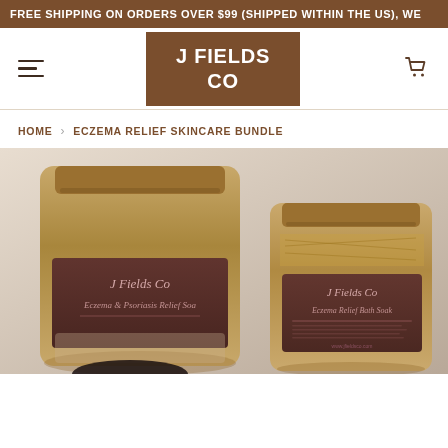FREE SHIPPING ON ORDERS OVER $99 (SHIPPED WITHIN THE US), WE
[Figure (logo): J Fields Co brand logo — brown square background with white text reading J FIELDS CO]
HOME › ECZEMA RELIEF SKINCARE BUNDLE
[Figure (photo): Product photo showing two kraft paper stand-up pouches with dark brown labels branded J Fields Co — larger pouch labeled Eczema & Psoriasis Relief Soap on left, smaller pouch labeled Eczema Relief Bath Soak on right, with a dark circular object visible at the bottom, on a light beige/neutral background]